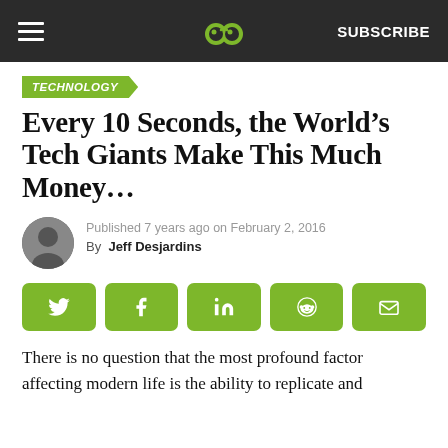SUBSCRIBE
TECHNOLOGY
Every 10 Seconds, the World's Tech Giants Make This Much Money...
Published 7 years ago on February 2, 2016
By Jeff Desjardins
There is no question that the most profound factor affecting modern life is the ability to replicate and...